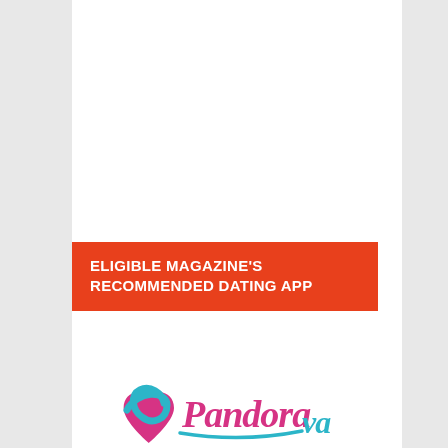ELIGIBLE MAGAZINE'S RECOMMENDED DATING APP
[Figure (logo): Colorful script logo text partially visible at the bottom of the page, rendered in pink and teal cursive lettering]